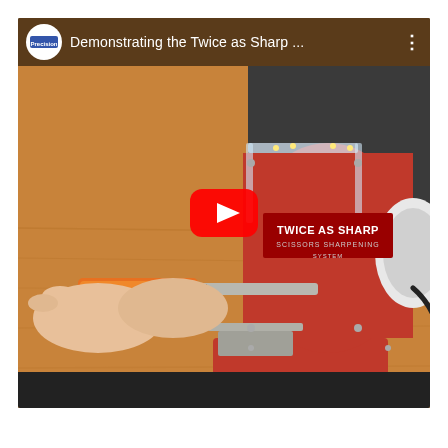[Figure (screenshot): YouTube video thumbnail showing a red 'Twice as Sharp' scissors sharpening machine on a wooden table, with hands holding scissors being sharpened. A large red play button is centered on the image. The top bar shows a channel icon and the title 'Demonstrating the Twice as Sharp ...' with a three-dot menu. The bottom bar is dark/black.]